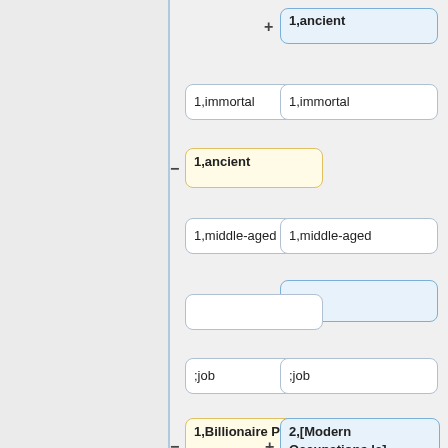[Figure (flowchart): A two-column flowchart showing pairs of nodes with minus and plus operators. Left column (yellow nodes): 1,ancient; 1,immortal; 1,ancient (bold, yellow); 1,middle-aged; empty; ;job; 1,Billionaire Playboy; 1,Foreign Ambassador; 1,Occult researcher; 1,runaway. Right column (blue nodes): 1,ancient (bold, blue, top); 1,immortal; 1,middle-aged; empty (blue, with +); ;job; 2,[Modern Occupations.lc]; 2,fireman; 2,lawyer; 2,ninja. Operators: minus before left bold nodes, plus before right bold nodes.]